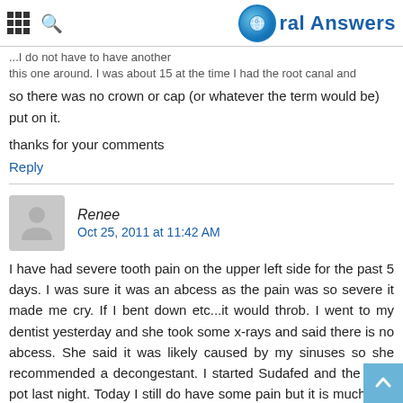Oral Answers
so there was no crown or cap (or whatever the term would be) put on it.
thanks for your comments
Reply
Renee
Oct 25, 2011 at 11:42 AM
I have had severe tooth pain on the upper left side for the past 5 days. I was sure it was an abcess as the pain was so severe it made me cry. If I bent down etc...it would throb. I went to my dentist yesterday and she took some x-rays and said there is no abcess. She said it was likely caused by my sinuses so she recommended a decongestant. I started Sudafed and the Neti-pot last night. Today I still do have some pain but it is much less severe. Would a sinus infection also cause excess pain if you eat on the infected side???
Reply